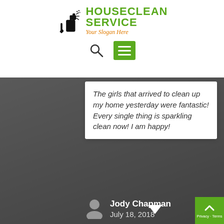[Figure (logo): HouseClean Service logo with spray bottle icon, green text reading HOUSECLEAN SERVICE and orange italic slogan 'Your Slogan Here']
[Figure (infographic): Navigation bar with search magnifying glass icon and green hamburger menu button]
The girls that arrived to clean up my home yesterday were fantastic! Every single thing is sparkling clean now! I am happy!
Jody Chapman
July 18, 2018
Fantastic Company!
[Figure (infographic): Five gold/yellow star rating icons]